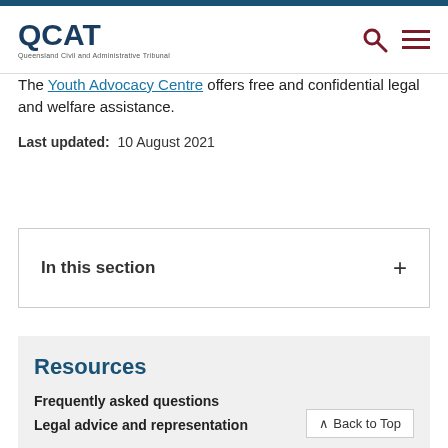QCAT — Queensland Civil and Administrative Tribunal
The Youth Advocacy Centre offers free and confidential legal and welfare assistance.
Last updated: 10 August 2021
In this section
Resources
Frequently asked questions
Legal advice and representation